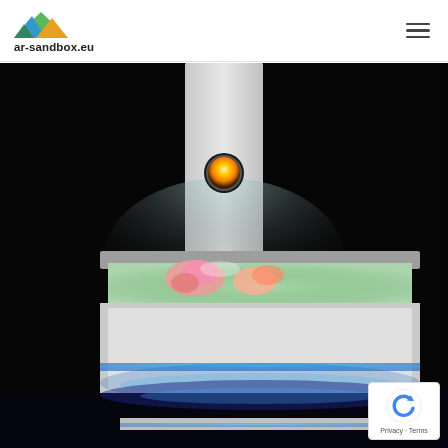ar-sandbox.eu
[Figure (photo): An AR sandbox unit photographed in a dark room. The white rectangular sandbox table has a glowing blue LED strip along its base. On top of the sandbox surface, colorful sand formations are illuminated from above with a projector mounted on a vertical white panel. A yellow-orange circular light (the projector lens) is visible on the panel. The overall scene is dramatically lit against a black background.]